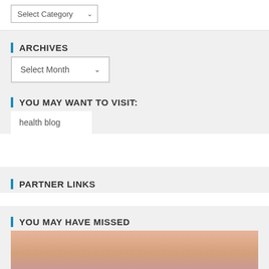[Figure (screenshot): A dropdown selector labeled 'Select Category' with a dropdown arrow, in a white box with border]
ARCHIVES
[Figure (screenshot): A dropdown selector labeled 'Select Month' with a dropdown arrow, in a white bordered box]
YOU MAY WANT TO VISIT:
health blog
PARTNER LINKS
YOU MAY HAVE MISSED
[Figure (photo): A landscape photo with pinkish-peach gradient sky, with a blue scroll-to-top button in the bottom right corner containing a white chevron/arrow pointing up]